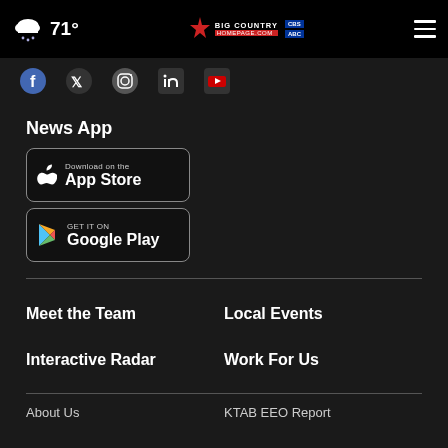71° Big Country Homepage - navigation bar
[Figure (screenshot): Social media icons row (Facebook, Twitter/X, Instagram, LinkedIn, YouTube)]
News App
[Figure (logo): Download on the App Store badge]
[Figure (logo): Get it on Google Play badge]
Meet the Team
Local Events
Interactive Radar
Work For Us
About Us
KTAB EEO Report